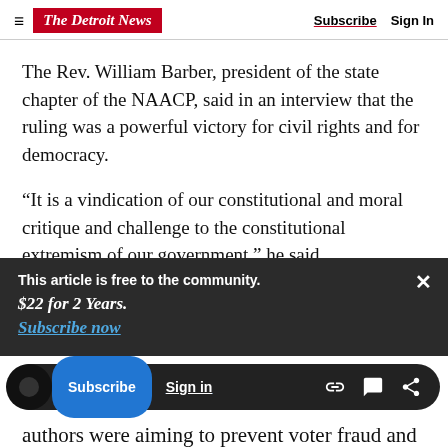The Detroit News | Subscribe  Sign In
The Rev. William Barber, president of the state chapter of the NAACP, said in an interview that the ruling was a powerful victory for civil rights and for democracy.
“It is a vindication of our constitutional and moral critique and challenge to the constitutional extremism of our government,” he said.
This article is free to the community.
$22 for 2 Years.
Subscribe now
authors were aiming to prevent voter fraud and